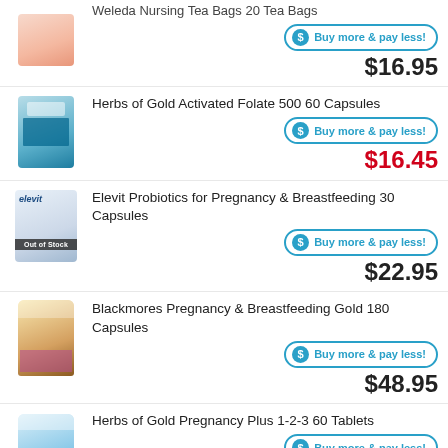[Figure (photo): Weleda Nursing Tea Bags product image (partial, top cut off)]
Weleda Nursing Tea Bags 20 Tea Bags
Buy more & pay less!
$16.95
[Figure (photo): Herbs of Gold Activated Folate 500 60 Capsules product bottle, teal/blue label]
Herbs of Gold Activated Folate 500 60 Capsules
Buy more & pay less!
$16.45
[Figure (photo): Elevit Probiotics for Pregnancy & Breastfeeding 30 Capsules with Out of Stock badge]
Elevit Probiotics for Pregnancy & Breastfeeding 30 Capsules
Buy more & pay less!
$22.95
[Figure (photo): Blackmores Pregnancy & Breastfeeding Gold 180 Capsules product bottle]
Blackmores Pregnancy & Breastfeeding Gold 180 Capsules
Buy more & pay less!
$48.95
[Figure (photo): Herbs of Gold Pregnancy Plus 1-2-3 60 Tablets product bottle]
Herbs of Gold Pregnancy Plus 1-2-3 60 Tablets
Buy more & pay less!